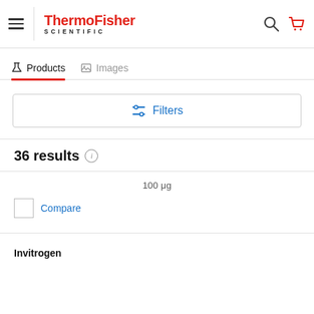[Figure (logo): ThermoFisher Scientific logo with hamburger menu, search and cart icons]
Products   Images
[Figure (other): Filters button with slider icon]
36 results
100 μg
Compare
Invitrogen